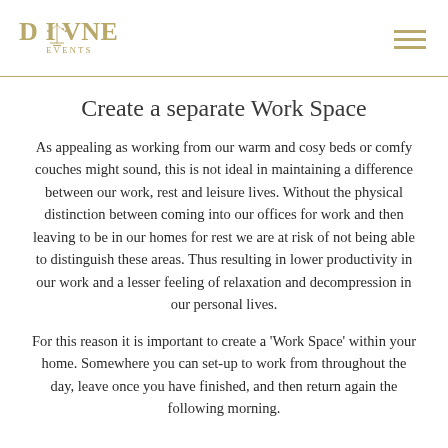DIVINE EVENTS
Create a separate Work Space
As appealing as working from our warm and cosy beds or comfy couches might sound, this is not ideal in maintaining a difference between our work, rest and leisure lives. Without the physical distinction between coming into our offices for work and then leaving to be in our homes for rest we are at risk of not being able to distinguish these areas. Thus resulting in lower productivity in our work and a lesser feeling of relaxation and decompression in our personal lives.
For this reason it is important to create a 'Work Space' within your home. Somewhere you can set-up to work from throughout the day, leave once you have finished, and then return again the following morning.